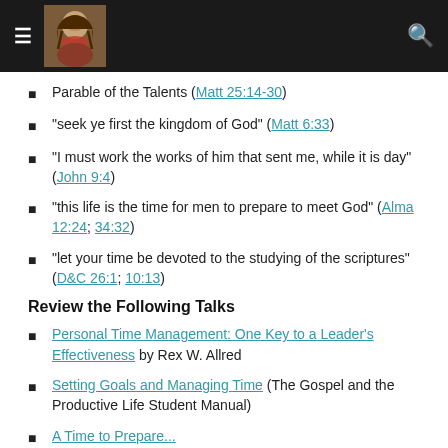≡  [Jesus image]  🔍
Parable of the Talents (Matt 25:14-30)
"seek ye first the kingdom of God" (Matt 6:33)
"I must work the works of him that sent me, while it is day" (John 9:4)
"this life is the time for men to prepare to meet God" (Alma 12:24; 34:32)
"let your time be devoted to the studying of the scriptures" (D&C 26:1; 10:13)
Review the Following Talks
Personal Time Management: One Key to a Leader's Effectiveness by Rex W. Allred
Setting Goals and Managing Time (The Gospel and the Productive Life Student Manual)
A Time to Prepare...